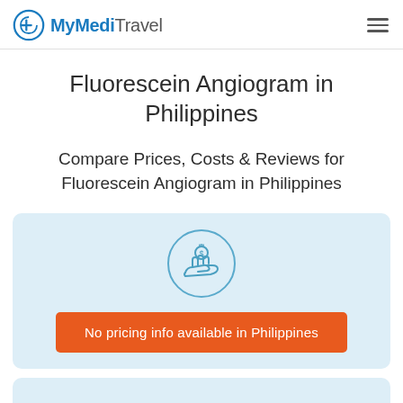MyMediTravel
Fluorescein Angiogram in Philippines
Compare Prices, Costs & Reviews for Fluorescein Angiogram in Philippines
[Figure (illustration): A circular icon with a hand holding a coin with a dollar sign, representing pricing/cost information.]
No pricing info available in Philippines